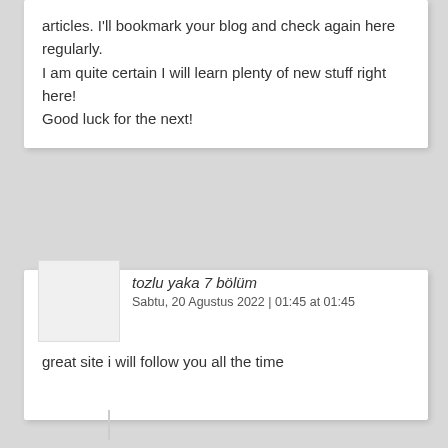articles. I'll bookmark your blog and check again here regularly.
I am quite certain I will learn plenty of new stuff right here!
Good luck for the next!
tozlu yaka 7 bölüm
Sabtu, 20 Agustus 2022 | 01:45 at 01:45
great site i will follow you all the time
baby loungers
Sabtu, 20 Agustus 2022 | 01:49 at 01:49
You're so cool! I do not think I've truly read anything like that before.
So great to find someone with a few original thoughts
on this subject matter. Really.. thanks for starting
this up. This website is one thing that is